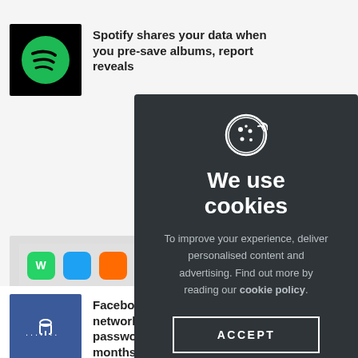[Figure (screenshot): Spotify logo - green circular icon on black background]
Spotify shares your data when you pre-save albums, report reveals
[Figure (photo): Mobile phone apps screen showing various app icons including WhatsApp]
y but
[Figure (logo): Google G logo in multicolor (red, blue, yellow, green)]
te your
[Figure (screenshot): Cookie consent modal dialog with dark background. Contains cookie icon, title 'We use cookies', body text 'To improve your experience, deliver personalised content and advertising. Find out more by reading our cookie policy.', and ACCEPT button]
[Figure (illustration): Facebook blue background with dots and lock icon]
Facebook's latest fail: social network stored millions of passwords in plain text for months